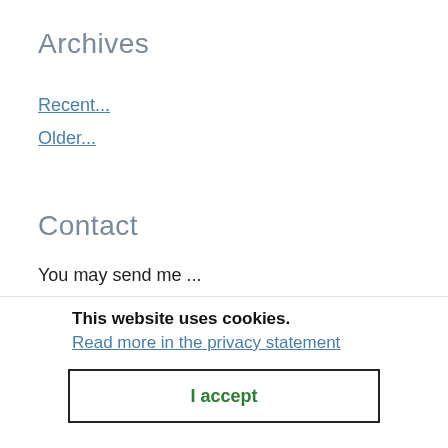Archives
Recent...
Older...
Contact
You may send me ...
This website uses cookies.
Read more in the privacy statement
I accept
Guide for GPlus refugees to choose a new social